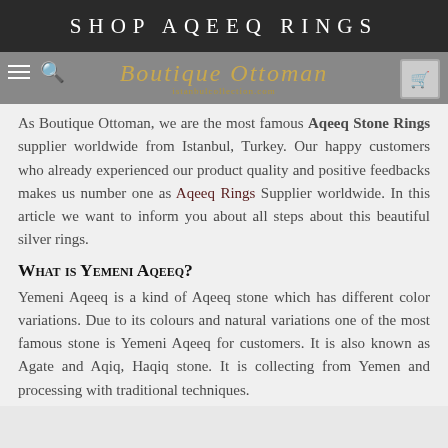Shop Aqeeq Rings
As Boutique Ottoman, we are the most famous Aqeeq Stone Rings supplier worldwide from Istanbul, Turkey. Our happy customers who already experienced our product quality and positive feedbacks makes us number one as Aqeeq Rings Supplier worldwide. In this article we want to inform you about all steps about this beautiful silver rings.
What is Yemeni Aqeeq?
Yemeni Aqeeq is a kind of Aqeeq stone which has different color variations. Due to its colours and natural variations one of the most famous stone is Yemeni Aqeeq for customers. It is also known as Agate and Aqiq, Haqiq stone. It is collecting from Yemen and processing with traditional techniques.